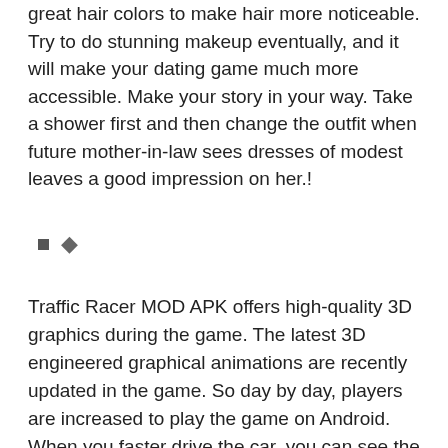great hair colors to make hair more noticeable. Try to do stunning makeup eventually, and it will make your dating game much more accessible. Make your story in your way. Take a shower first and then change the outfit when future mother-in-law sees dresses of modest leaves a good impression on her.!
◆
Traffic Racer MOD APK offers high-quality 3D graphics during the game. The latest 3D engineered graphical animations are recently updated in the game. So day by day, players are increased to play the game on Android. When you faster drive the car, you can see the objects. So miss controls, and missing objects do not appear during the racing. Well-designed car animations are provided fantastic